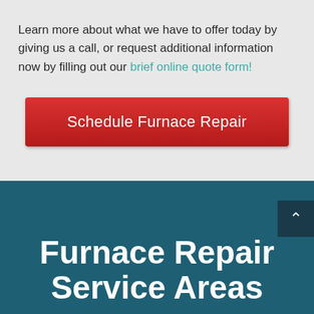Learn more about what we have to offer today by giving us a call, or request additional information now by filling out our brief online quote form!
Schedule Furnace Repair
Furnace Repair Service Areas